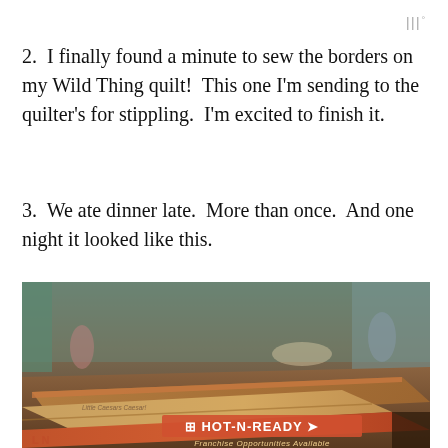|||°
2.  I finally found a minute to sew the borders on my Wild Thing quilt!  This one I'm sending to the quilter's for stippling.  I'm excited to finish it.
3.  We ate dinner late.  More than once.  And one night it looked like this.
[Figure (photo): Photo of a Little Caesars HOT-N-READY pizza box on a dinner table, with text reading 'Franchise Opportunities Available'. Background shows a dimly lit kitchen/dining area.]